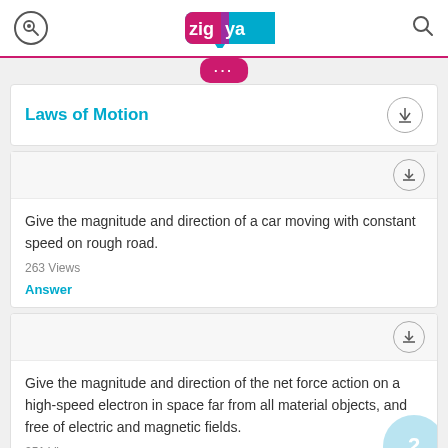zigya
Laws of Motion
Give the magnitude and direction of a car moving with constant speed on rough road.
263 Views
Answer
Give the magnitude and direction of the net force action on a high-speed electron in space far from all material objects, and free of electric and magnetic fields.
251 Views